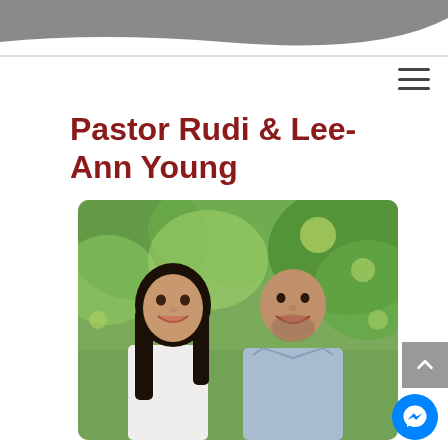[Figure (illustration): Gray decorative wave/arc shape at the top of the page]
Pastor Rudi & Lee-Ann Young
[Figure (photo): A smiling couple (woman with long dark hair on the left, bald man with beard on the right) standing outdoors with green bokeh trees in the background]